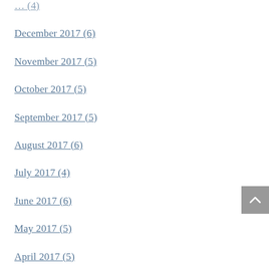December 2017 (6)
November 2017 (5)
October 2017 (5)
September 2017 (5)
August 2017 (6)
July 2017 (4)
June 2017 (6)
May 2017 (5)
April 2017 (5)
March 2017 (6)
February 2017 (6)
January 2017 (5)